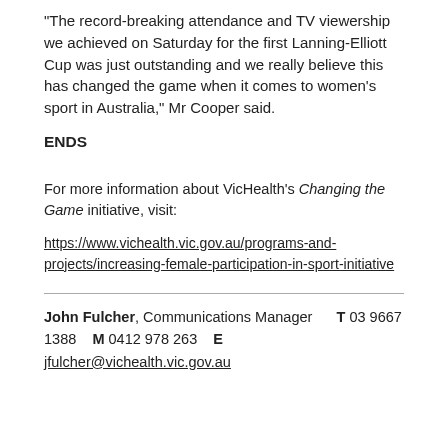"The record-breaking attendance and TV viewership we achieved on Saturday for the first Lanning-Elliott Cup was just outstanding and we really believe this has changed the game when it comes to women's sport in Australia," Mr Cooper said.
ENDS
For more information about VicHealth's Changing the Game initiative, visit:
https://www.vichealth.vic.gov.au/programs-and-projects/increasing-female-participation-in-sport-initiative
John Fulcher,  Communications Manager      T 03 9667 1388   M 0412 978 263   E jfulcher@vichealth.vic.gov.au